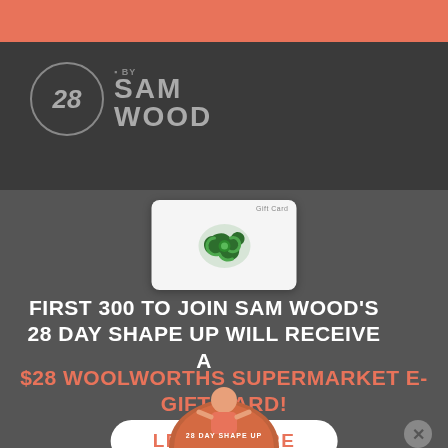[Figure (logo): Coral/salmon colored horizontal bar at top]
[Figure (logo): 28 By Sam Wood logo on dark grey header background]
[Figure (photo): Woolworths supermarket gift card image on white card background]
FIRST 300 TO JOIN SAM WOOD'S 28 DAY SHAPE UP WILL RECEIVE A
$28 WOOLWORTHS SUPERMARKET E-GIFT CARD!
LEARN MORE
[Figure (logo): 28 Day Shape Up circular badge with Sam Wood figure at bottom]